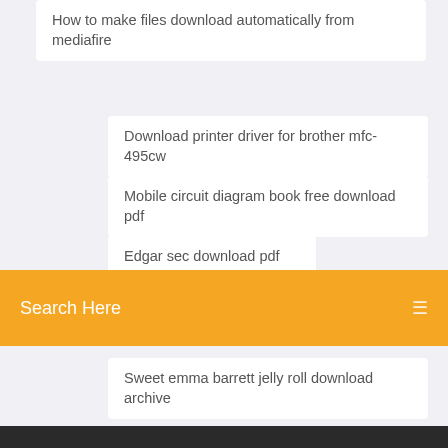How to make files download automatically from mediafire
Download printer driver for brother mfc-495cw
Mobile circuit diagram book free download pdf
Edgar sec download pdf
Search Here
Sweet emma barrett jelly roll download archive